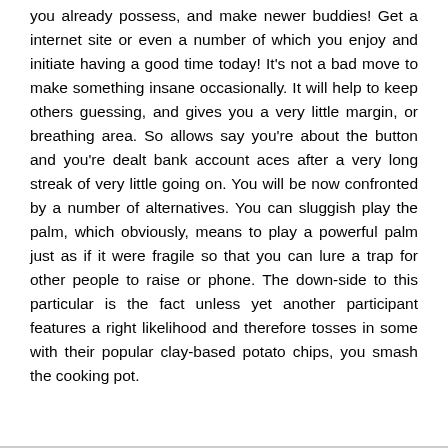you already possess, and make newer buddies! Get a internet site or even a number of which you enjoy and initiate having a good time today! It's not a bad move to make something insane occasionally. It will help to keep others guessing, and gives you a very little margin, or breathing area. So allows say you're about the button and you're dealt bank account aces after a very long streak of very little going on. You will be now confronted by a number of alternatives. You can sluggish play the palm, which obviously, means to play a powerful palm just as if it were fragile so that you can lure a trap for other people to raise or phone. The down-side to this particular is the fact unless yet another participant features a right likelihood and therefore tosses in some with their popular clay-based potato chips, you smash the cooking pot.